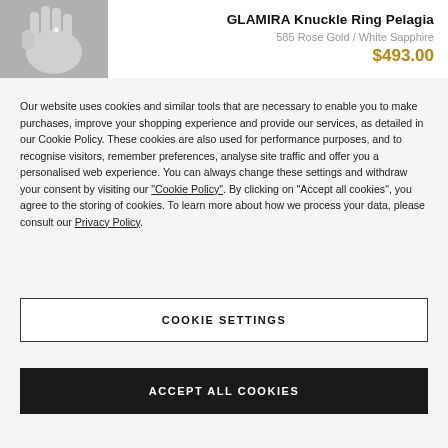[Figure (photo): Black and white photo of a white mannequin hand wearing a knuckle ring]
GLAMIRA Knuckle Ring Pelagia
585 Rose Gold / White Sapphire
$493.00
Our website uses cookies and similar tools that are necessary to enable you to make purchases, improve your shopping experience and provide our services, as detailed in our Cookie Policy. These cookies are also used for performance purposes, and to recognise visitors, remember preferences, analyse site traffic and offer you a personalised web experience. You can always change these settings and withdraw your consent by visiting our "Cookie Policy". By clicking on "Accept all cookies", you agree to the storing of cookies. To learn more about how we process your data, please consult our Privacy Policy.
COOKIE SETTINGS
ACCEPT ALL COOKIES